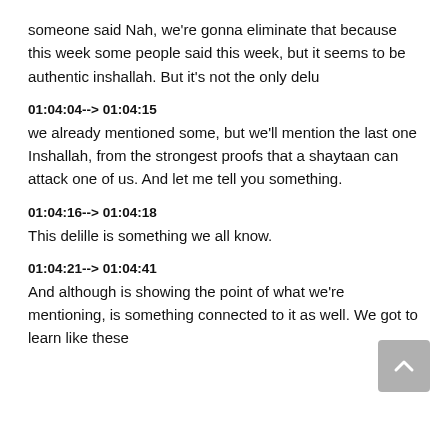someone said Nah, we're gonna eliminate that because this week some people said this week, but it seems to be authentic inshallah. But it's not the only delu
01:04:04--> 01:04:15
we already mentioned some, but we'll mention the last one Inshallah, from the strongest proofs that a shaytaan can attack one of us. And let me tell you something.
01:04:16--> 01:04:18
This delille is something we all know.
01:04:21--> 01:04:41
And although is showing the point of what we're mentioning, is something connected to it as well. We got to learn like these